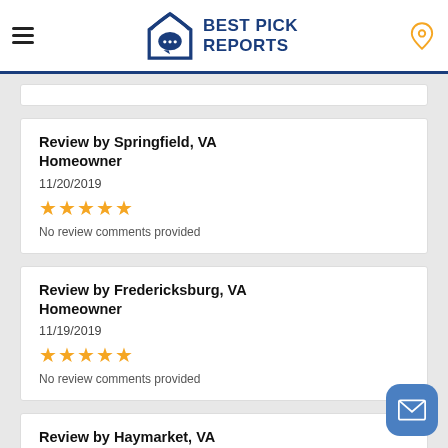Best Pick Reports
Review by Springfield, VA Homeowner
11/20/2019
★★★★★
No review comments provided
Review by Fredericksburg, VA Homeowner
11/19/2019
★★★★★
No review comments provided
Review by Haymarket, VA Homeowner
11/19/2019
★★★★★